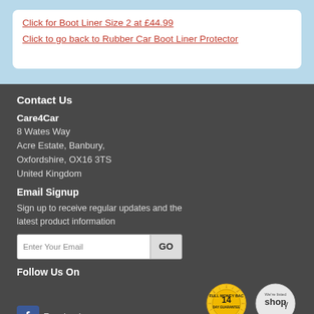Click for Boot Liner Size 2 at £44.99
Click to go back to Rubber Car Boot Liner Protector
Contact Us
Care4Car
8 Wates Way
Acre Estate, Banbury,
Oxfordshire, OX16 3TS
United Kingdom
Email Signup
Sign up to receive regular updates and the latest product information
Enter Your Email  GO
Follow Us On
Facebook
[Figure (logo): 14-day full money back guarantee badge (gold sunburst)]
[Figure (logo): We're listed on shop badge (grey circle)]